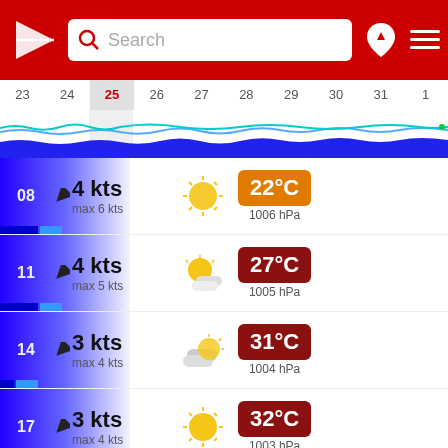[Figure (screenshot): App header with red background, logo (white triangle/arrow), search box, location pin icon, and hamburger menu]
[Figure (other): Date selector bar showing dates 23-31 and 1, with 25 highlighted as today. Wave/wind chart below showing blue wave patterns.]
08  4 kts  max 6 kts  22°C  1006 hPa
11  4 kts  max 5 kts  27°C  1005 hPa
14  3 kts  max 4 kts  31°C  1004 hPa
17  3 kts  max 4 kts  32°C  1003 hPa
20  2 kts  max 4 kts  29°C  1002 hPa